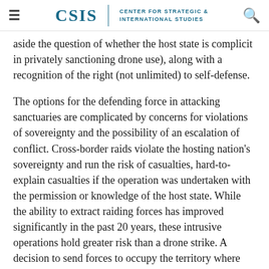CSIS | CENTER FOR STRATEGIC & INTERNATIONAL STUDIES
aside the question of whether the host state is complicit in privately sanctioning drone use), along with a recognition of the right (not unlimited) to self-defense.
The options for the defending force in attacking sanctuaries are complicated by concerns for violations of sovereignty and the possibility of an escalation of conflict. Cross-border raids violate the hosting nation's sovereignty and run the risk of casualties, hard-to-explain casualties if the operation was undertaken with the permission or knowledge of the host state. While the ability to extract raiding forces has improved significantly in the past 20 years, these intrusive operations hold greater risk than a drone strike. A decision to send forces to occupy the territory where sanctuaries are located is even riskier when these territories are located in another